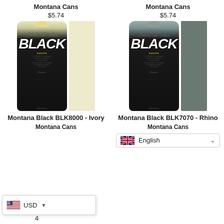Montana Cans
$5.74
[Figure (photo): Montana Black spray can with ivory top cap and ivory color swatch beside it]
Montana Black BLK8000 - Ivory
Montana Cans
Montana Cans
$5.74
[Figure (photo): Montana Black spray can with grey/rhino top cap and grey color swatch beside it]
Montana Black BLK7070 - Rhino
Montana Cans
[Figure (screenshot): USD currency selector widget with US flag]
[Figure (screenshot): English language selector with UK flag]